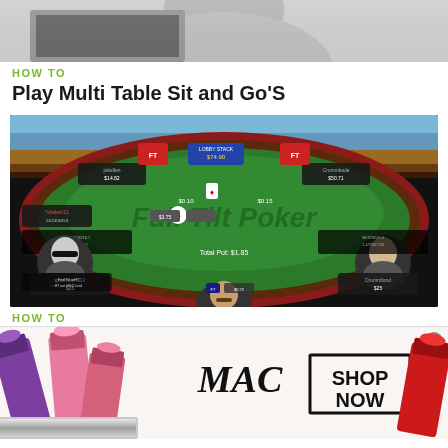[Figure (photo): Black and white photo of a person, cropped to show partial face and upper body]
HOW TO
Play Multi Table Sit and Go'S
[Figure (screenshot): Screenshot of an online poker game at Full Tilt Poker showing a multiplayer poker table with player avatars, chip stacks, and cards]
HOW TO
[Figure (photo): Advertisement banner for MAC cosmetics showing lipsticks, MAC logo, and a SHOP NOW button]